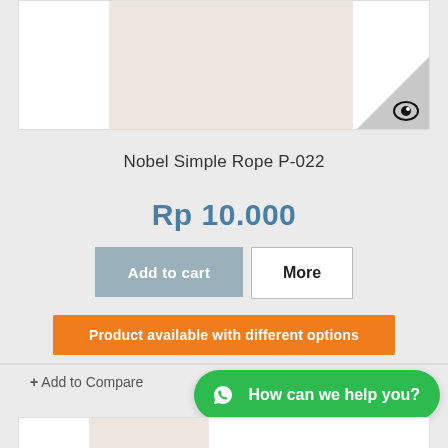[Figure (photo): Product image placeholder - beige/cream colored rectangle with a grey triangle corner overlay containing an eye icon]
Nobel Simple Rope P-022
Rp 10.000
Add to cart
More
Product available with different options
+ Add to Compare
How can we help you?